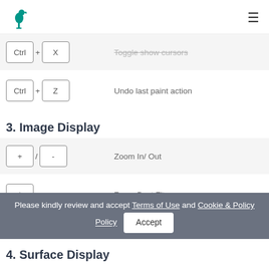[Logo] [Hamburger menu]
| Key | Action |
| --- | --- |
| Ctrl + X | Toggle show cursors |
| Ctrl + Z | Undo last paint action |
3. Image Display
| Key | Action |
| --- | --- |
| + / - | Zoom In/ Out |
| * | Zoom Best Fit |
| / | Zoom to 1:1 (in smallest |
Please kindly review and accept Terms of Use and Cookie & Policy Policy  Accept
4. Surface Display